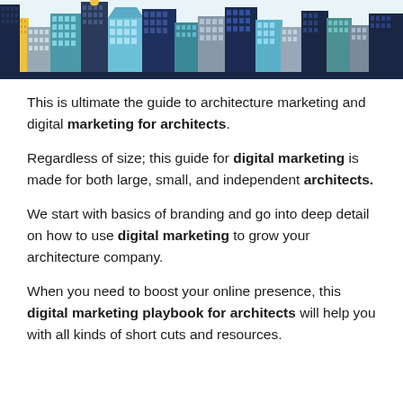[Figure (illustration): Colorful cartoon-style cityscape illustration showing a skyline of buildings in navy, teal, light blue, yellow, and grey colors against a light blue sky.]
This is ultimate the guide to architecture marketing and digital marketing for architects.
Regardless of size; this guide for digital marketing is made for both large, small, and independent architects.
We start with basics of branding and go into deep detail on how to use digital marketing to grow your architecture company.
When you need to boost your online presence, this digital marketing playbook for architects will help you with all kinds of short cuts and resources.